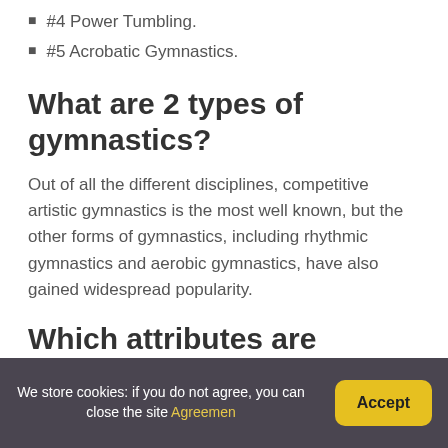#4 Power Tumbling.
#5 Acrobatic Gymnastics.
What are 2 types of gymnastics?
Out of all the different disciplines, competitive artistic gymnastics is the most well known, but the other forms of gymnastics, including rhythmic gymnastics and aerobic gymnastics, have also gained widespread popularity.
Which attributes are important for gymnasts?
We store cookies: if you do not agree, you can close the site Agreemen